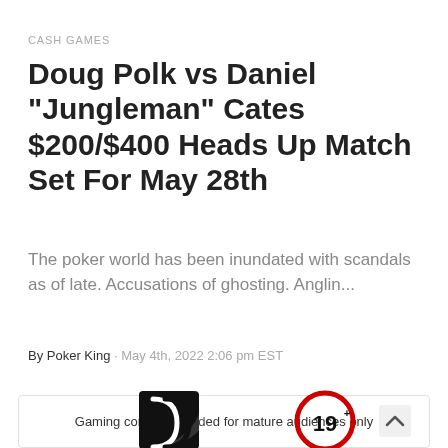CASH GAMES
Doug Polk vs Daniel "Jungleman" Cates $200/$400 Heads Up Match Set For May 28th
The poker world has been inundated with scandals as of late. Accusations of ghosting. Anglin...
By Poker King · May 4th, 2022 2:06 pm EST
[Figure (infographic): Advertisement box with text 'Gaming content intended for mature audiences only', a playing card logo, an age restriction circle showing 19+, and a scroll-to-top arrow button]